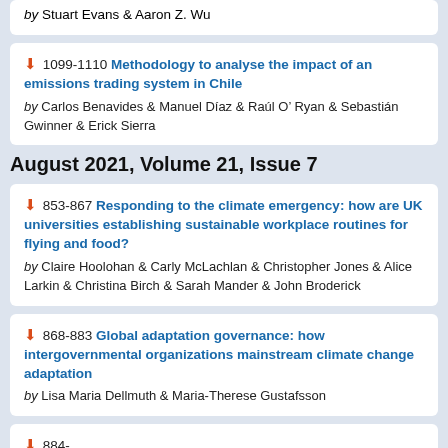by Stuart Evans & Aaron Z. Wu
1099-1110 Methodology to analyse the impact of an emissions trading system in Chile by Carlos Benavides & Manuel Díaz & Raúl O' Ryan & Sebastián Gwinner & Erick Sierra
August 2021, Volume 21, Issue 7
853-867 Responding to the climate emergency: how are UK universities establishing sustainable workplace routines for flying and food? by Claire Hoolohan & Carly McLachlan & Christopher Jones & Alice Larkin & Christina Birch & Sarah Mander & John Broderick
868-883 Global adaptation governance: how intergovernmental organizations mainstream climate change adaptation by Lisa Maria Dellmuth & Maria-Therese Gustafsson
884-...